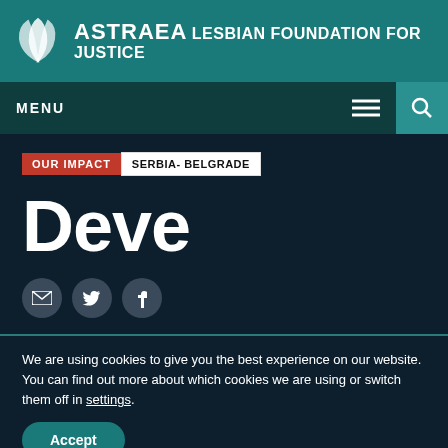ASTRAEA LESBIAN FOUNDATION FOR JUSTICE
MENU
OUR IMPACT  SERBIA- BELGRADE
Deve
[Figure (illustration): Social sharing icons: email, Twitter, Facebook]
We are using cookies to give you the best experience on our website.
You can find out more about which cookies we are using or switch them off in settings.
Accept